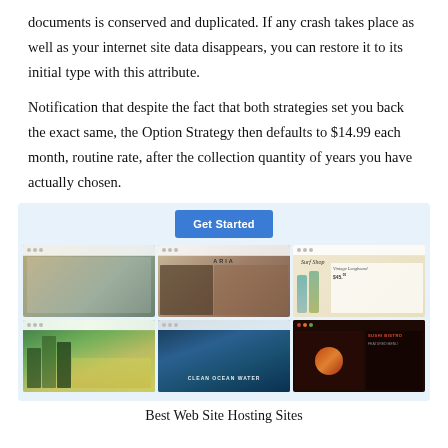documents is conserved and duplicated. If any crash takes place as well as your internet site data disappears, you can restore it to its initial type with this attribute.
Notification that despite the fact that both strategies set you back the exact same, the Option Strategy then defaults to $14.99 each month, routine rate, after the collection quantity of years you have actually chosen.
[Figure (screenshot): A collage of six website screenshots arranged in a 3x2 grid on a light blue background, with a blue 'Get Started' button at the top center. Screenshots show various website designs including a travel/architecture site, an ARIA-branded fashion/lifestyle site, a Surf Shop e-commerce site, a nature/forest painting site, an ocean/surf lifestyle site, and a food/restaurant site.]
Best Web Site Hosting Sites